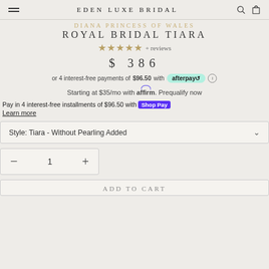EDEN LUXE BRIDAL
DIANA PRINCESS OF WALES ROYAL BRIDAL TIARA
★★★★★ + reviews
$ 386
or 4 interest-free payments of $96.50 with afterpay
Starting at $35/mo with affirm. Prequalify now
Pay in 4 interest-free installments of $96.50 with Shop Pay
Learn more
Style: Tiara - Without Pearling Added
1
ADD TO CART